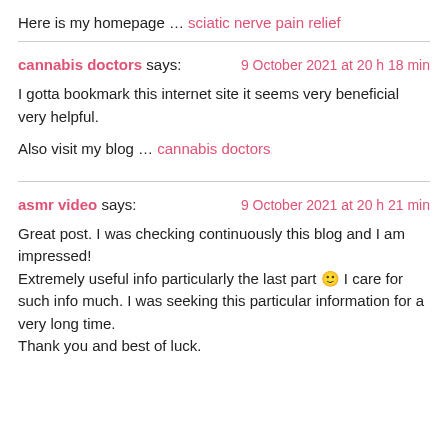Here is my homepage … sciatic nerve pain relief
cannabis doctors says: 9 October 2021 at 20 h 18 min

I gotta bookmark this internet site it seems very beneficial very helpful.

Also visit my blog … cannabis doctors
asmr video says: 9 October 2021 at 20 h 21 min

Great post. I was checking continuously this blog and I am impressed!
Extremely useful info particularly the last part 🙂 I care for such info much. I was seeking this particular information for a very long time.
Thank you and best of luck.